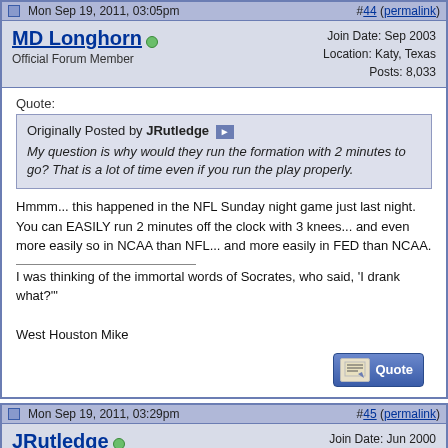Mon Sep 19, 2011, 03:05pm  #44 (permalink)
MD Longhorn
Official Forum Member
Join Date: Sep 2003
Location: Katy, Texas
Posts: 8,033
Quote:
Originally Posted by JRutledge
My question is why would they run the formation with 2 minutes to go? That is a lot of time even if you run the play properly.
Hmmm... this happened in the NFL Sunday night game just last night. You can EASILY run 2 minutes off the clock with 3 knees... and even more easily so in NCAA than NFL... and more easily in FED than NCAA.
I was thinking of the immortal words of Socrates, who said, 'I drank what?'"

West Houston Mike
Mon Sep 19, 2011, 03:29pm  #45 (permalink)
JRutledge
Do not give a damn!!
Join Date: Jun 2000
Location: On the border
Posts: 30,172